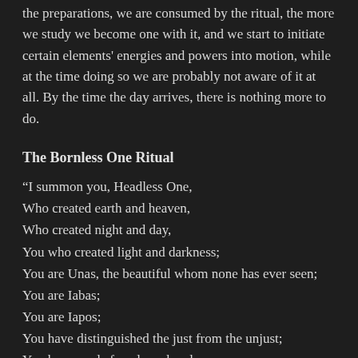the preparations, we are consumed by the ritual, the more we study we become one with it, and we start to initiate certain elements' energies and powers into motion, while at the time doing so we are probably not aware of it at all. By the time the day arrives, there is nothing more to do.
The Bornless One Ritual
“I summon you, Headless One,
Who created earth and heaven,
Who created night and day,
You who created light and darkness;
You are Unas, the beautiful whom none has ever seen;
You are Iabas;
You are Iapos;
You have distinguished the just from the unjust;
You have made female and male;
You have revealed seed and fruits;
You have made men love each other
And hate each other.”